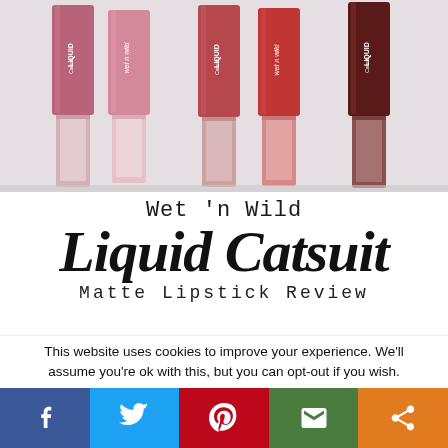[Figure (photo): Five Wet 'n Wild Liquid Catsuit matte lipstick tubes in varying shades from pink to dark red/brown, arranged side by side on a light background]
Wet 'n Wild
Liquid Catsuit
Matte Lipstick Review
This website uses cookies to improve your experience. We'll assume you're ok with this, but you can opt-out if you wish.